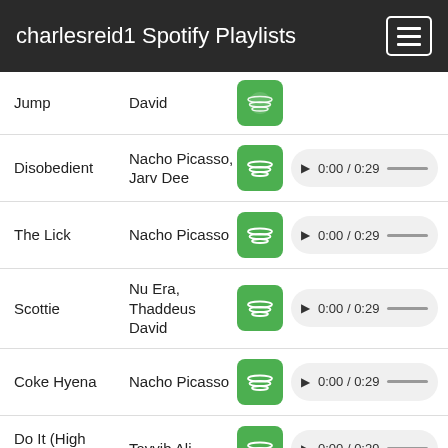charlesreid1 Spotify Playlists
Jump | David
Disobedient | Nacho Picasso, Jarv Dee | 0:00 / 0:29
The Lick | Nacho Picasso | 0:00 / 0:29
Scottie | Nu Era, Thaddeus David | 0:00 / 0:29
Coke Hyena | Nacho Picasso | 0:00 / 0:29
Do It (High School Dropout) | Tayyib Ali | 0:00 / 0:29
Dreams of | Sam